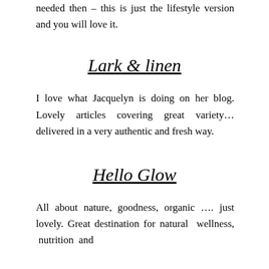needed then – this is just the lifestyle version and you will love it.
Lark & linen
I love what Jacquelyn is doing on her blog. Lovely articles covering great variety… delivered in a very authentic and fresh way.
Hello Glow
All about nature, goodness, organic …. just lovely. Great destination for natural wellness, nutrition and